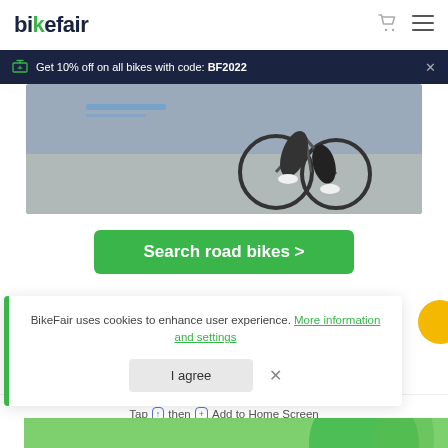[Figure (logo): BikeFair logo with green letter 'k']
Get 10% off on all bikes with code: BF2022
[Figure (photo): Cyclist riding a road bike, lower half visible, gray pavement background]
Search road bikes >
BikeFair uses cookies to enhance user experience. More information and settings
I agree
Tap then + Add to Home Screen